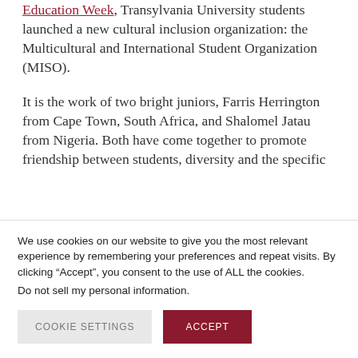Education Week, Transylvania University students launched a new cultural inclusion organization: the Multicultural and International Student Organization (MISO).
It is the work of two bright juniors, Farris Herrington from Cape Town, South Africa, and Shalomel Jatau from Nigeria. Both have come together to promote friendship between students, diversity and the specific
We use cookies on our website to give you the most relevant experience by remembering your preferences and repeat visits. By clicking “Accept”, you consent to the use of ALL the cookies.
Do not sell my personal information.